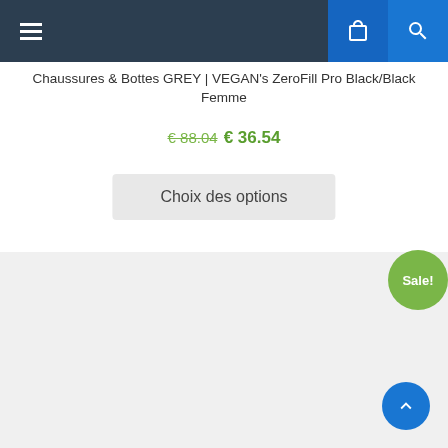Navigation bar with hamburger menu, cart icon, and search icon
Chaussures & Bottes GREY | VEGAN's ZeroFill Pro Black/Black Femme
€ 88.04 € 36.54
Choix des options
[Figure (other): Product image placeholder area with grey background and Sale! badge]